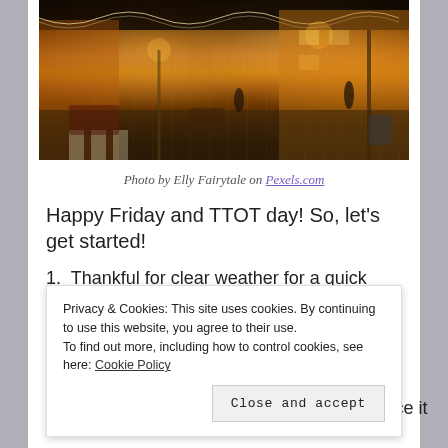[Figure (photo): Nighttime city street scene with warm orange/amber lighting, street lamps, buildings with illuminated facades, pedestrians, and a zebra crossing in the foreground.]
Photo by Elly Fairytale on Pexels.com
Happy Friday and TTOT day! So, let's get started!
1.  Thankful for clear weather for a quick errand this
Privacy & Cookies: This site uses cookies. By continuing to use this website, you agree to their use.
To find out more, including how to control cookies, see here: Cookie Policy
Close and accept
3.  Technology, #2 helped me realize how nice it is.